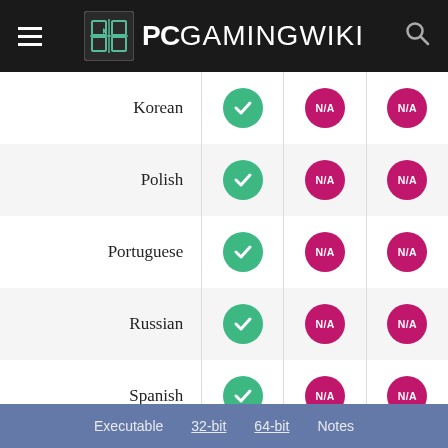PCGamingWiki
| Language | UI | Audio | Subtitles |
| --- | --- | --- | --- |
| Korean | ✓ | N/A | N/A |
| Polish | ✓ | N/A | N/A |
| Portuguese | ✓ | N/A | N/A |
| Russian | ✓ | N/A | N/A |
| Spanish | ✓ | N/A | N/A |
| Thai | ✓ | N/A | N/A |
| Turkish | ✓ | N/A | N/A |
Other information
API
| Executable | 32-bit | 64-bit | Notes |
| --- | --- | --- | --- |